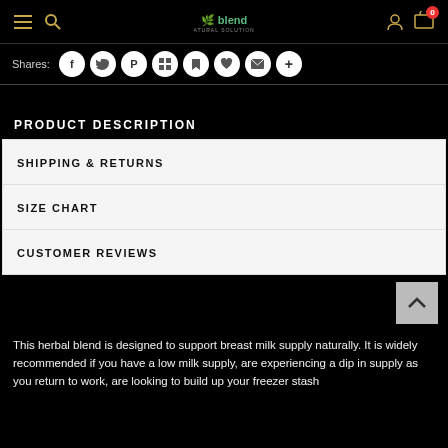Navigation bar with menu, search, logo, user icon, and cart (0)
Shares:
PRODUCT DESCRIPTION
SHIPPING & RETURNS
SIZE CHART
CUSTOMER REVIEWS
This herbal blend is designed to support breast milk supply naturally. It is widely recommended if you have a low milk supply, are experiencing a dip in supply as you return to work, are looking to build up your freezer stash